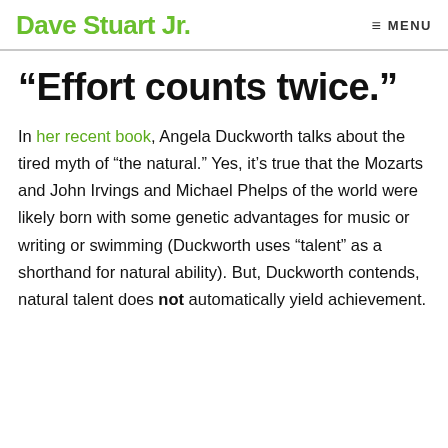Dave Stuart Jr.  ≡ MENU
“Effort counts twice.”
In her recent book, Angela Duckworth talks about the tired myth of “the natural.” Yes, it’s true that the Mozarts and John Irvings and Michael Phelps of the world were likely born with some genetic advantages for music or writing or swimming (Duckworth uses “talent” as a shorthand for natural ability). But, Duckworth contends, natural talent does not automatically yield achievement.